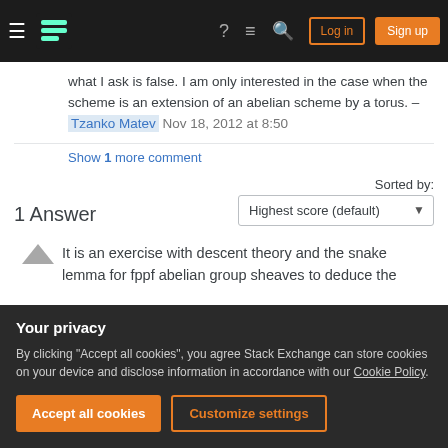Stack Exchange navigation bar with logo, help, chat, search, log in, and sign up buttons
what I ask is false. I am only interested in the case when the scheme is an extension of an abelian scheme by a torus. – Tzanko Matev Nov 18, 2012 at 8:50
Show 1 more comment
1 Answer
Sorted by: Highest score (default)
It is an exercise with descent theory and the snake lemma for fppf abelian group sheaves to deduce the
Your privacy
By clicking "Accept all cookies", you agree Stack Exchange can store cookies on your device and disclose information in accordance with our Cookie Policy.
Accept all cookies
Customize settings
rather generally, if